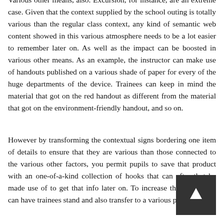Various other means, also. Excursion, for instance, are an extreme case. Given that the context supplied by the school outing is totally various than the regular class context, any kind of semantic web content showed in this various atmosphere needs to be a lot easier to remember later on. As well as the impact can be boosted in various other means. As an example, the instructor can make use of handouts published on a various shade of paper for every of the huge departments of the device. Trainees can keep in mind the material that got on the red handout as different from the material that got on the environment-friendly handout, and so on.
However by transforming the contextual signs bordering one item of details to ensure that they are various than those connected to the various other factors, you permit pupils to save that product with an one-of-a-kind collection of hooks that can after that be made use of to get that info later on. To increase the result, you can have trainees stand and also transfer to a various part of the